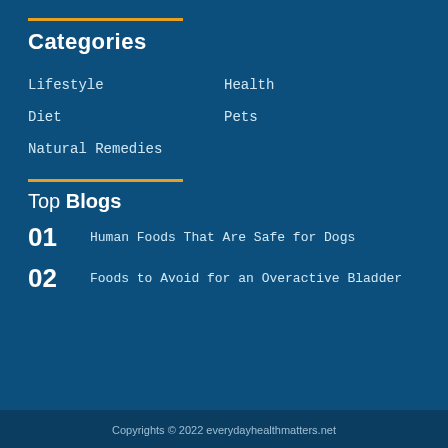Categories
Lifestyle
Health
Diet
Pets
Natural Remedies
Top Blogs
01   Human Foods That Are Safe for Dogs
02   Foods to Avoid for an Overactive Bladder
Copyrights © 2022 everydayhealthmatters.net